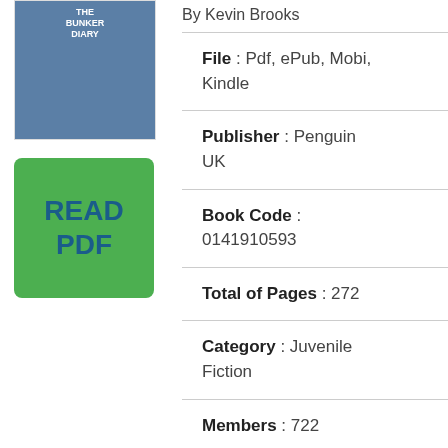[Figure (illustration): Book cover thumbnail for 'The Bunker Diary' showing a dark blue cover with white text]
[Figure (other): Green 'READ PDF' button]
By Kevin Brooks
File : Pdf, ePub, Mobi, Kindle
Publisher : Penguin UK
Book Code : 0141910593
Total of Pages : 272
Category : Juvenile Fiction
Members : 722
Pdf File: the-bunker-